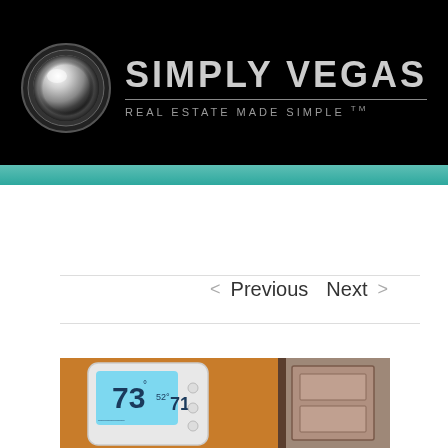[Figure (logo): Simply Vegas Real Estate logo with chrome sphere and text 'SIMPLY VEGAS / REAL ESTATE MADE SIMPLE TM' on black background]
Go to...
< Previous   Next >
[Figure (photo): Thermostat on orange wall showing temperature 73 degrees, with cabinet visible to the right]